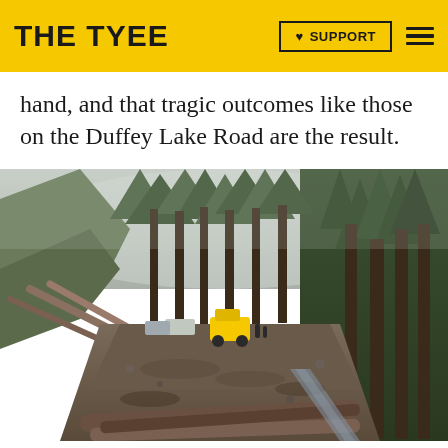THE TYEE | SUPPORT
hand, and that tragic outcomes like those on the Duffey Lake Road are the result.
[Figure (photo): A landslide scene on Duffey Lake Road showing debris, fallen logs, mud, and a yellow construction vehicle in the middle of the road, surrounded by dense conifer forest in foggy conditions.]